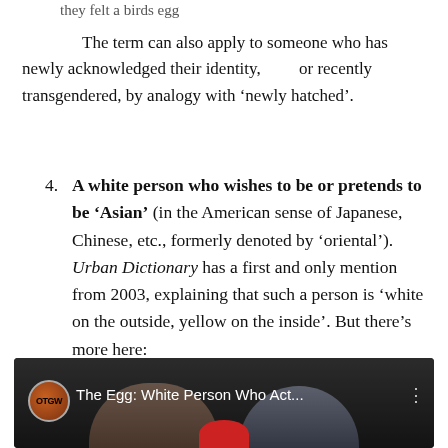they felt a birds egg
The term can also apply to someone who has newly acknowledged their identity, or recently transgendered, by analogy with ‘newly hatched’.
4. A white person who wishes to be or pretends to be ‘Asian’ (in the American sense of Japanese, Chinese, etc., formerly denoted by ‘oriental’). Urban Dictionary has a first and only mention from 2003, explaining that such a person is ‘white on the outside, yellow on the inside’. But there’s more here:
[Figure (screenshot): YouTube video thumbnail showing two people (a woman and a man) with overlay text 'The Egg: White Person Who Act...' and a channel logo labeled OTGW]